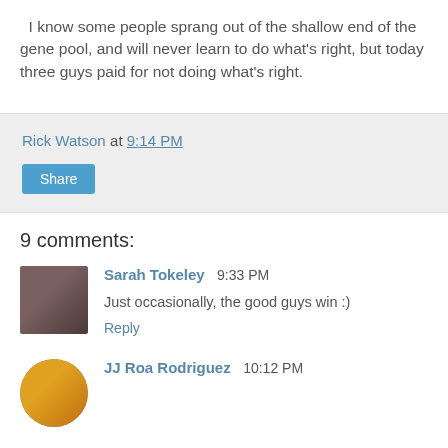I know some people sprang out of the shallow end of the gene pool, and will never learn to do what's right, but today three guys paid for not doing what's right.
Rick Watson at 9:14 PM
Share
9 comments:
Sarah Tokeley 9:33 PM
Just occasionally, the good guys win :)
Reply
JJ Roa Rodriguez 10:12 PM